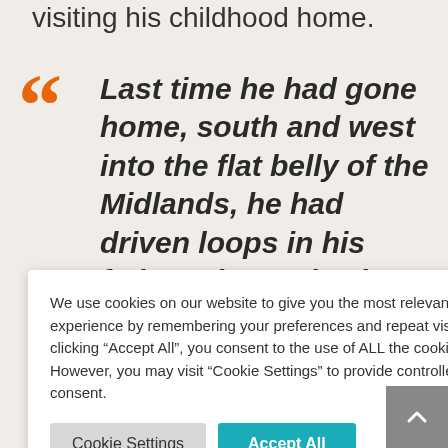visiting his childhood home.
Last time he had gone home, south and west into the flat belly of the Midlands, he had driven loops in his father's jeep, slowing as he passed his [house. Her] [she is two] [in the next] [s laughs] [bout what] [ave been] [blican, full-] [an emoji] [he warm]
We use cookies on our website to give you the most relevant experience by remembering your preferences and repeat visits. By clicking "Accept All", you consent to the use of ALL the cookies. However, you may visit "Cookie Settings" to provide controlled consent.
Cookie Settings | Accept All